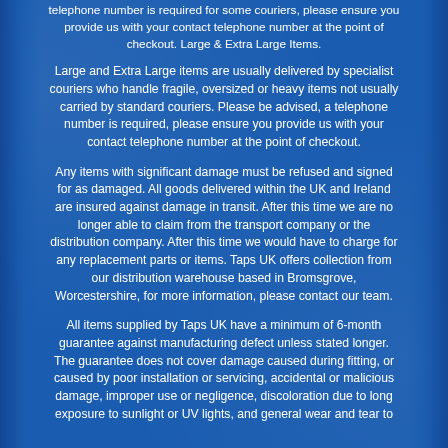telephone number is required for some couriers, please ensure you provide us with your contact telephone number at the point of checkout. Large & Extra Large Items.
Large and Extra Large items are usually delivered by specialist couriers who handle fragile, oversized or heavy items not usually carried by standard couriers. Please be advised, a telephone number is required, please ensure you provide us with your contact telephone number at the point of checkout.
Any items with significant damage must be refused and signed for as damaged. All goods delivered within the UK and Ireland are insured against damage in transit. After this time we are no longer able to claim from the transport company or the distribution company. After this time we would have to charge for any replacement parts or items. Taps UK offers collection from our distribution warehouse based in Bromsgrove, Worcestershire, for more information, please contact our team.
All items supplied by Taps UK have a minimum of 6-month guarantee against manufacturing defect unless stated longer. The guarantee does not cover damage caused during fitting, or caused by poor installation or servicing, accidental or malicious damage, improper use or negligence, discoloration due to long exposure to sunlight or UV lights, and general wear and tear to